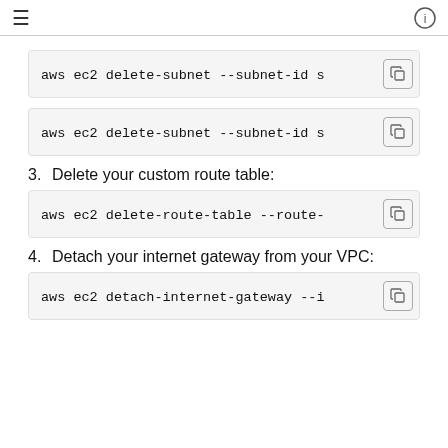≡  ℹ
aws ec2 delete-subnet --subnet-id s
aws ec2 delete-subnet --subnet-id s
3.  Delete your custom route table:
aws ec2 delete-route-table --route-
4.  Detach your internet gateway from your VPC:
aws ec2 detach-internet-gateway --i